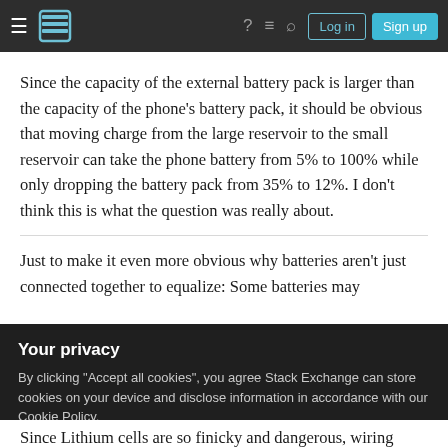Stack Exchange navigation bar with hamburger menu, logo, help, chat, search icons, Log in and Sign up buttons
Since the capacity of the external battery pack is larger than the capacity of the phone's battery pack, it should be obvious that moving charge from the large reservoir to the small reservoir can take the phone battery from 5% to 100% while only dropping the battery pack from 35% to 12%. I don't think this is what the question was really about.
Just to make it even more obvious why batteries aren't just connected together to equalize: Some batteries may
Your privacy
By clicking "Accept all cookies", you agree Stack Exchange can store cookies on your device and disclose information in accordance with our Cookie Policy.
Since Lithium cells are so finicky and dangerous, wiring